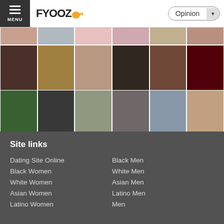[Figure (screenshot): FYOOZ website header with hamburger menu, FYOOZ logo, and Opinion dropdown]
[Figure (photo): Grid of profile photos showing various people, arranged in 3 rows of 6 photos each]
Site links
Dating Site Online
Black Women
White Women
Asian Women
Latino Women
Black Men
White Men
Asian Men
Latino Men
Men